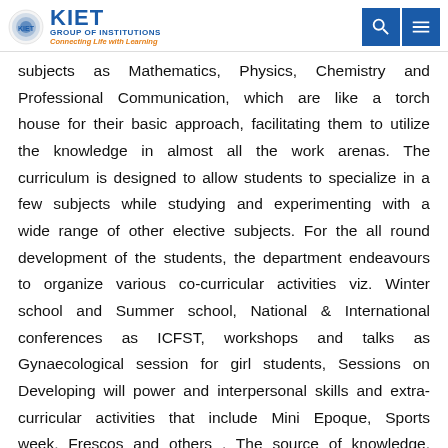KIET GROUP OF INSTITUTIONS — Connecting Life with Learning
subjects as Mathematics, Physics, Chemistry and Professional Communication, which are like a torch house for their basic approach, facilitating them to utilize the knowledge in almost all the work arenas. The curriculum is designed to allow students to specialize in a few subjects while studying and experimenting with a wide range of other elective subjects. For the all round development of the students, the department endeavours to organize various co-curricular activities viz. Winter school and Summer school, National & International conferences as ICFST, workshops and talks as Gynaecological session for girl students, Sessions on Developing will power and interpersonal skills and extra-curricular activities that include Mini Epoque, Sports week, Frescos and others . The source of knowledge, inspiration and innovation springs from the applied forms of science